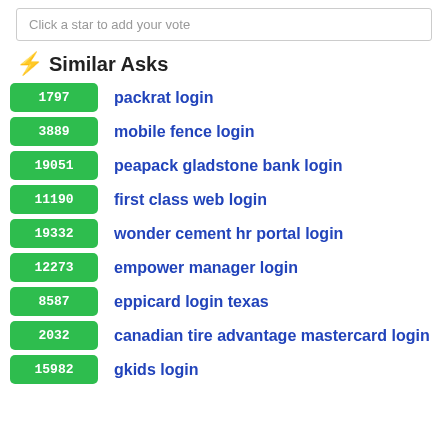Click a star to add your vote
⚡ Similar Asks
1797 packrat login
3889 mobile fence login
19051 peapack gladstone bank login
11190 first class web login
19332 wonder cement hr portal login
12273 empower manager login
8587 eppicard login texas
2032 canadian tire advantage mastercard login
15982 gkids login